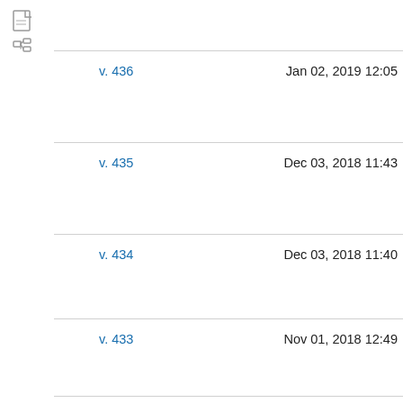[Figure (other): Document and file-tree icons in the top-left]
v. 436    Jan 02, 2019 12:05
v. 435    Dec 03, 2018 11:43
v. 434    Dec 03, 2018 11:40
v. 433    Nov 01, 2018 12:49